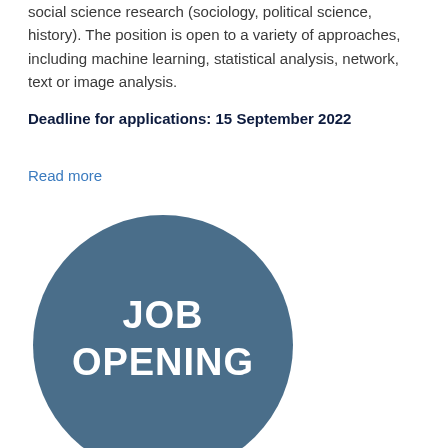social science research (sociology, political science, history). The position is open to a variety of approaches, including machine learning, statistical analysis, network, text or image analysis.
Deadline for applications: 15 September 2022
Read more
[Figure (illustration): Dark steel-blue circle with white bold text reading 'JOB OPENING' centered inside]